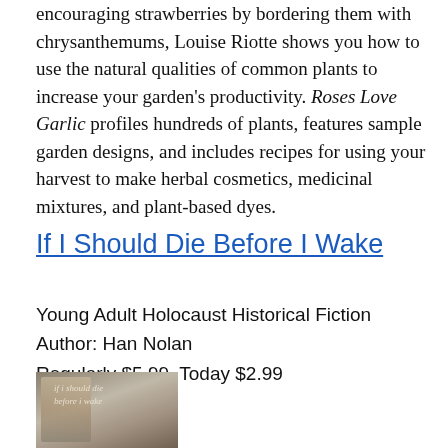encouraging strawberries by bordering them with chrysanthemums, Louise Riotte shows you how to use the natural qualities of common plants to increase your garden's productivity. Roses Love Garlic profiles hundreds of plants, features sample garden designs, and includes recipes for using your harvest to make herbal cosmetics, medicinal mixtures, and plant-based dyes.
If I Should Die Before I Wake
Young Adult Holocaust Historical Fiction
Author: Han Nolan
Regularly $5.99, Today $2.99
[Figure (photo): Book cover of 'If I Should Die Before I Wake' showing a close-up of a young woman's face with text overlaid]